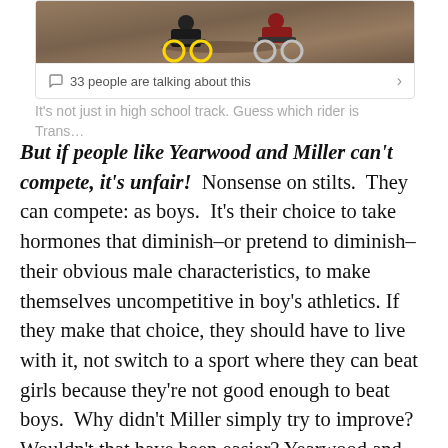[Figure (screenshot): Screenshot of cycling image with two riders on a velodrome track, with a social media engagement bar showing '33 people are talking about this']
It's not just in high school track. Guess which rider is Trans…
But if people like Yearwood and Miller can't compete, it's unfair! Nonsense on stilts. They can compete: as boys. It's their choice to take hormones that diminish–or pretend to diminish–their obvious male characteristics, to make themselves uncompetitive in boy's athletics. If they make that choice, they should have to live with it, not switch to a sport where they can beat girls because they're not good enough to beat boys. Why didn't Miller simply try to improve? Wouldn't that have been easier? Yearwood and Miller are inherently cowardly, inherently dishonorable, and absolutely unsportsmanlike. They, and their enablers make a mockery of the often-lauded nobility, grandeur and